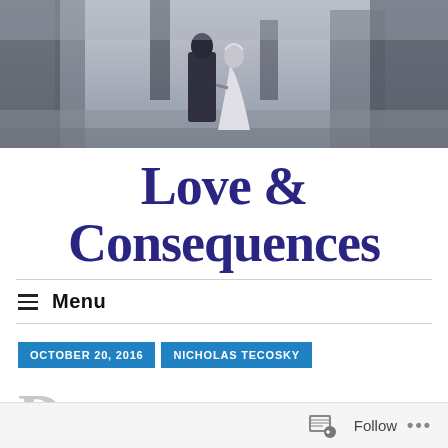[Figure (photo): Black and white photo of a couple (wedding attire) walking away through trees in a park]
Love & Consequences
≡ Menu
OCTOBER 20, 2016
NICHOLAS TECOSKY
Follow ...